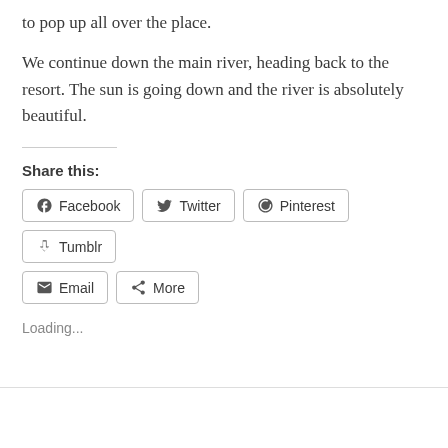to pop up all over the place.
We continue down the main river, heading back to the resort. The sun is going down and the river is absolutely beautiful.
Share this:
Facebook  Twitter  Pinterest  Tumblr  Email  More
Loading...